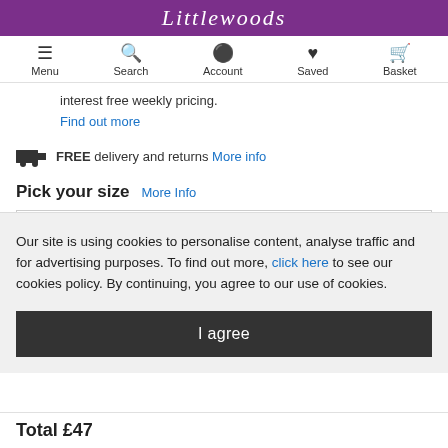Littlewoods
[Figure (screenshot): Navigation bar with Menu, Search, Account, Saved, Basket icons]
interest free weekly pricing.
Find out more
FREE delivery and returns More info
Pick your size  More Info
Our site is using cookies to personalise content, analyse traffic and for advertising purposes. To find out more, click here to see our cookies policy. By continuing, you agree to our use of cookies.
I agree
Total £47